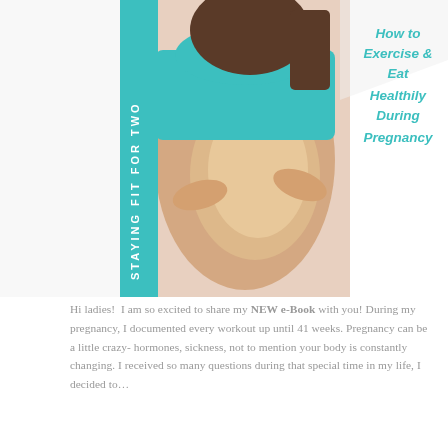[Figure (illustration): Book cover image showing a pregnant woman in a teal sports bra holding her belly, with text 'STAYING FIT FOR TWO' on the spine and 'How to Exercise & Eat Healthily During Pregnancy' on the cover in teal text on white background.]
Hi ladies!  I am so excited to share my NEW e-Book with you! During my pregnancy, I documented every workout up until 41 weeks. Pregnancy can be a little crazy- hormones, sickness, not to mention your body is constantly changing. I received so many questions during that special time in my life, I decided to...
CONTINUE READING
/ FILED IN: FITNESS
TAGGED: FIT PREGNANCY, FITNESS, PLANS